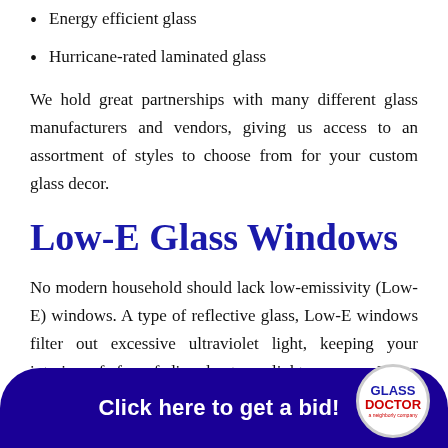Energy efficient glass
Hurricane-rated laminated glass
We hold great partnerships with many different glass manufacturers and vendors, giving us access to an assortment of styles to choose from for your custom glass decor.
Low-E Glass Windows
No modern household should lack low-emissivity (Low-E) windows. A type of reflective glass, Low-E windows filter out excessive ultraviolet light, keeping your interior safe from fading due to sunlight exposure. When combined with insulated glass options, t… comfortable int…
[Figure (other): Call-to-action banner with dark blue rounded bar reading 'Click here to get a bid!' and Glass Doctor logo circle on the right]